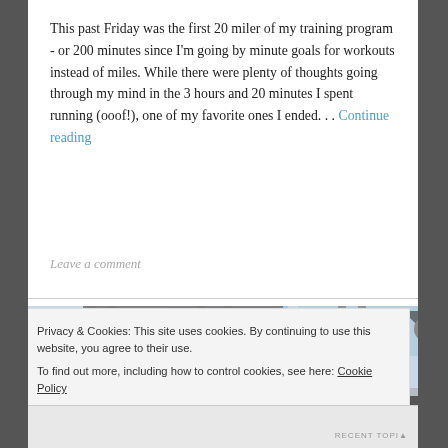This past Friday was the first 20 miler of my training program - or 200 minutes since I'm going by minute goals for workouts instead of miles. While there were plenty of thoughts going through my mind in the 3 hours and 20 minutes I spent running (ooof!), one of my favorite ones I ended... Continue reading
Leave a comment
[Figure (photo): Photo of a steel bridge with blue sky visible through the structure]
Privacy & Cookies: This site uses cookies. By continuing to use this website, you agree to their use. To find out more, including how to control cookies, see here: Cookie Policy
Close and accept